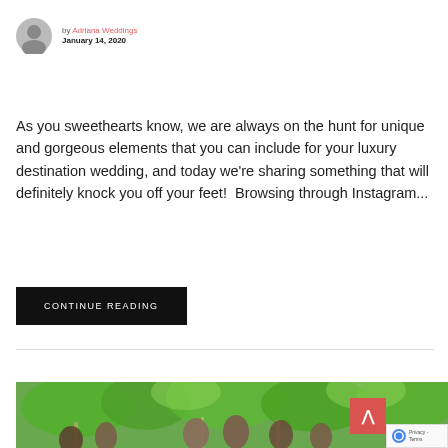by Adriana Weddings
January 14, 2020
As you sweethearts know, we are always on the hunt for unique and gorgeous elements that you can include for your luxury destination wedding, and today we're sharing something that will definitely knock you off your feet!  Browsing through Instagram...
CONTINUE READING
[Figure (photo): Wedding party photo showing bridesmaids and bride outdoors with lush green trees in background]